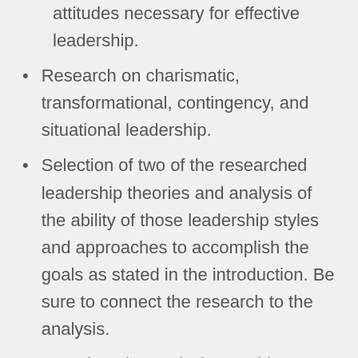attitudes necessary for effective leadership.
Research on charismatic, transformational, contingency, and situational leadership.
Selection of two of the researched leadership theories and analysis of the ability of those leadership styles and approaches to accomplish the goals as stated in the introduction. Be sure to connect the research to the analysis.
Based on the analysis, provide a recommendation for the leadership style most appropriate for achieving the business and organizational performance goals identified in the introduction. Connecting the research to the recommendations will make them stronger.